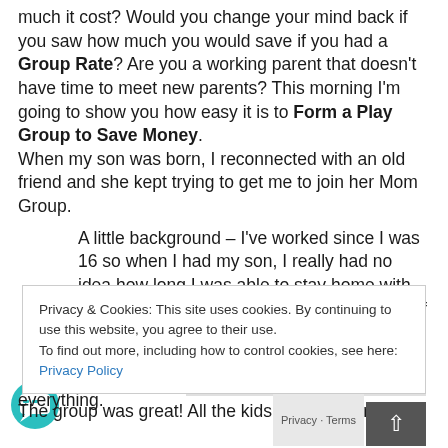much it cost? Would you change your mind back if you saw how much you would save if you had a Group Rate? Are you a working parent that doesn't have time to meet new parents? This morning I'm going to show you how easy it is to Form a Play Group to Save Money. When my son was born, I reconnected with an old friend and she kept trying to get me to join her Mom Group. A little background – I've worked since I was 16 so when I had my son, I really had no idea how long I was able to stay home with him and how long we were able to survive off one
Privacy & Cookies: This site uses cookies. By continuing to use this website, you agree to their use. To find out more, including how to control cookies, see here: Privacy Policy
Close and accept
she reassured me that I didn't have to go everything.
The group was great! All the kids were born in 2007